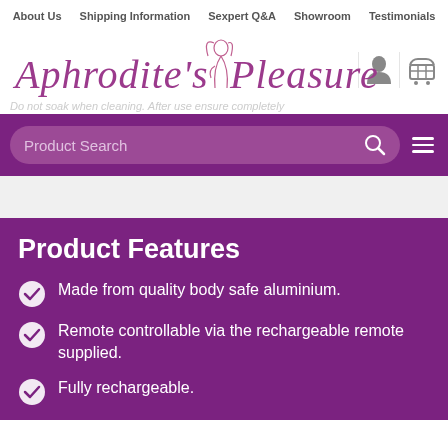About Us | Shipping Information | Sexpert Q&A | Showroom | Testimonials
[Figure (logo): Aphrodite's Pleasure logo with stylized cursive text and line-art female figure in purple/pink]
Do not soak when cleaning. After use ensure completely
Product Search
Product Features
Made from quality body safe aluminium.
Remote controllable via the rechargeable remote supplied.
Fully rechargeable.